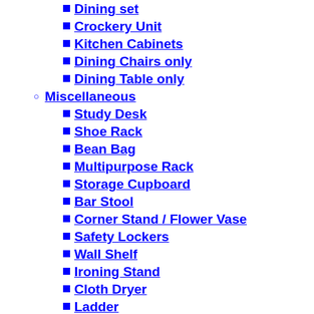Dining set
Crockery Unit
Kitchen Cabinets
Dining Chairs only
Dining Table only
Miscellaneous
Study Desk
Shoe Rack
Bean Bag
Multipurpose Rack
Storage Cupboard
Bar Stool
Corner Stand / Flower Vase
Safety Lockers
Wall Shelf
Ironing Stand
Cloth Dryer
Ladder
Office
Tables
Executive Office Table
Writing Table
Computer Table
Conference Table